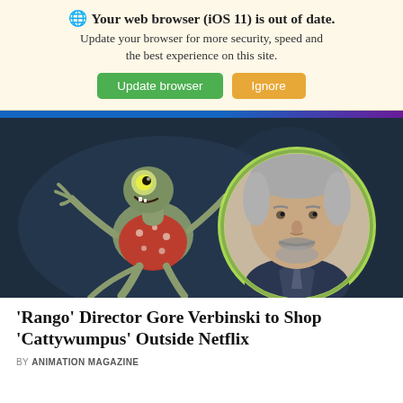🌐 Your web browser (iOS 11) is out of date. Update your browser for more security, speed and the best experience on this site. Update browser | Ignore
[Figure (photo): Animated chameleon character from Rango (wearing a red Hawaiian shirt) on the left, and a circular inset photo of director Gore Verbinski (gray-haired man with beard) on the right, against a dark blue background.]
'Rango' Director Gore Verbinski to Shop 'Cattywumpus' Outside Netflix
BY ANIMATION MAGAZINE